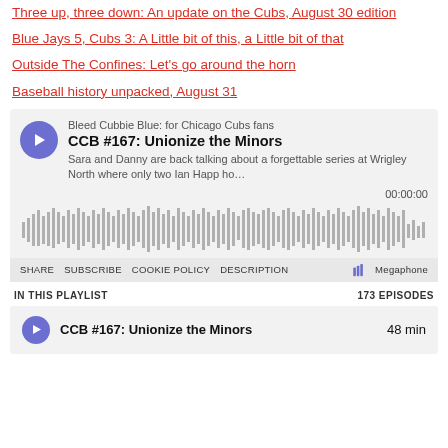Three up, three down: An update on the Cubs, August 30 edition
Blue Jays 5, Cubs 3: A Little bit of this, a Little bit of that
Outside The Confines: Let's go around the horn
Baseball history unpacked, August 31
[Figure (screenshot): Podcast player embed for 'CCB #167: Unionize the Minors' from Bleed Cubbie Blue: for Chicago Cubs fans. Shows a play button, waveform, time 00:00:00, share/subscribe/cookie policy/description links, Megaphone branding, playlist info (IN THIS PLAYLIST, 173 EPISODES), and an episode row for 'CCB #167: Unionize the Minors' — 48 min.]